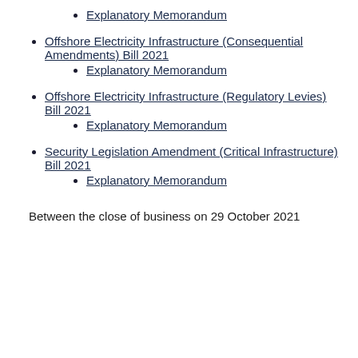Explanatory Memorandum
Offshore Electricity Infrastructure (Consequential Amendments) Bill 2021
Explanatory Memorandum
Offshore Electricity Infrastructure (Regulatory Levies) Bill 2021
Explanatory Memorandum
Security Legislation Amendment (Critical Infrastructure) Bill 2021
Explanatory Memorandum
Between the close of business on 29 October 2021